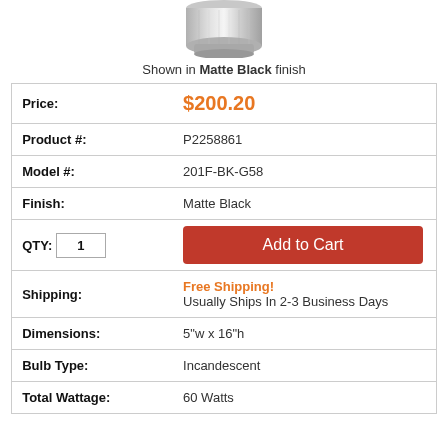[Figure (photo): Partial product photo showing the bottom of a light fixture with a metallic silver/chrome finish against a white background]
Shown in Matte Black finish
| Price: | $200.20 |
| Product #: | P2258861 |
| Model #: | 201F-BK-G58 |
| Finish: | Matte Black |
| QTY: | 1  Add to Cart |
| Shipping: | Free Shipping!
Usually Ships In 2-3 Business Days |
| Dimensions: | 5"w x 16"h |
| Bulb Type: | Incandescent |
| Total Wattage: | 60 Watts |